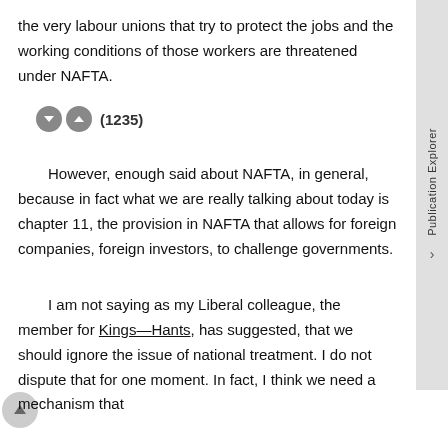the very labour unions that try to protect the jobs and the working conditions of those workers are threatened under NAFTA.
(1235)
However, enough said about NAFTA, in general, because in fact what we are really talking about today is chapter 11, the provision in NAFTA that allows for foreign companies, foreign investors, to challenge governments.
I am not saying as my Liberal colleague, the member for Kings—Hants, has suggested, that we should ignore the issue of national treatment. I do not dispute that for one moment. In fact, I think we need a mechanism that